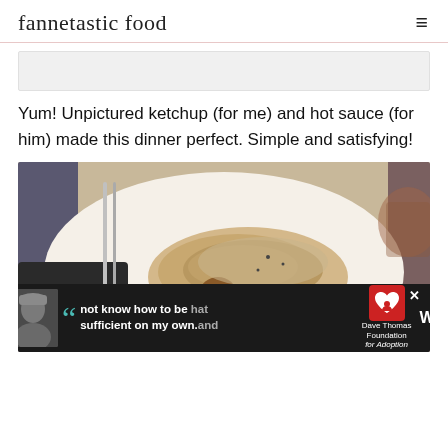fannetastic food
[Figure (other): Light gray advertisement banner placeholder]
Yum! Unpictured ketchup (for me) and hot sauce (for him) made this dinner perfect. Simple and satisfying!
[Figure (photo): A dinner plate with roasted chicken, broccoli, kale, and roasted potatoes, with a fork and knife visible on the side and a glass in the background]
[Figure (other): Advertisement overlay at bottom: dark background with a person photo, quotation marks, text 'not know how to be sufficient on my own. and', Dave Thomas Foundation for Adoption logo, and W degrees logo]